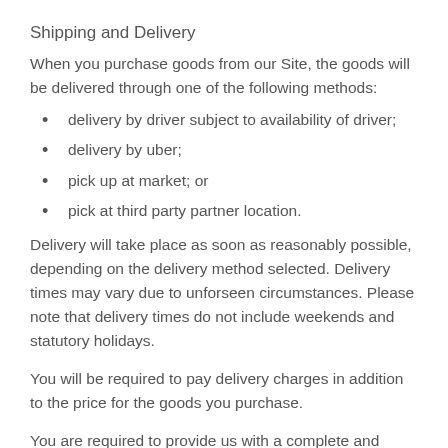Shipping and Delivery
When you purchase goods from our Site, the goods will be delivered through one of the following methods:
delivery by driver subject to availability of driver;
delivery by uber;
pick up at market; or
pick at third party partner location.
Delivery will take place as soon as reasonably possible, depending on the delivery method selected. Delivery times may vary due to unforseen circumstances. Please note that delivery times do not include weekends and statutory holidays.
You will be required to pay delivery charges in addition to the price for the goods you purchase.
You are required to provide us with a complete and accurate